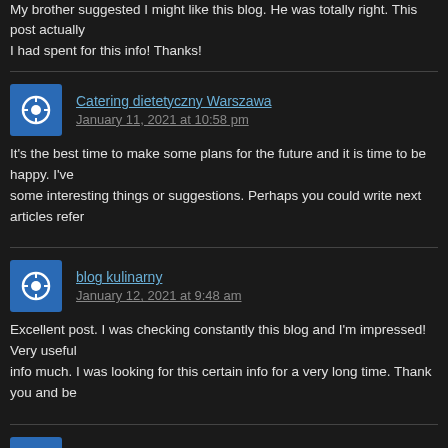My brother suggested I might like this blog. He was totally right. This post actually I had spent for this info! Thanks!
Catering dietetyczny Warszawa
January 11, 2021 at 10:58 pm
It's the best time to make some plans for the future and it is time to be happy. I've some interesting things or suggestions. Perhaps you could write next articles refer
blog kulinarny
January 12, 2021 at 9:48 am
Excellent post. I was checking constantly this blog and I'm impressed! Very useful info much. I was looking for this certain info for a very long time. Thank you and be
visio 2016 windows 10
January 12, 2021 at 10:35 am
Does your site have a contact page? I'm having a tough time locating it but, I'd like blog you might be interested in hearing. Either way, great site and I look forward to